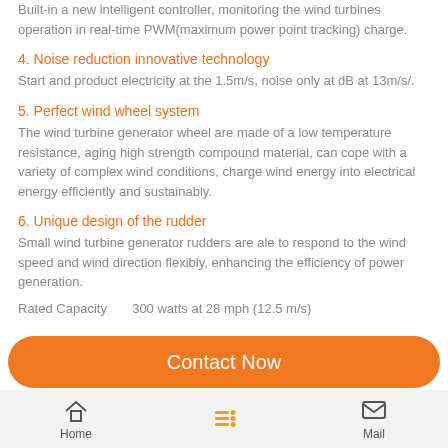Built-in a new intelligent controller, monitoring the wind turbines operation in real-time PWM(maximum power point tracking) charge.
4. Noise reduction innovative technology
Start and product electricity at the 1.5m/s, noise only at dB at 13m/s/.
5. Perfect wind wheel system
The wind turbine generator wheel are made of a low temperature resistance, aging high strength compound material, can cope with a variety of complex wind conditions, charge wind energy into electrical energy efficiently and sustainably.
6. Unique design of the rudder
Small wind turbine generator rudders are ale to respond to the wind speed and wind direction flexibly, enhancing the efficiency of power generation.
Rated Capacity       300 watts at 28 mph (12.5 m/s)